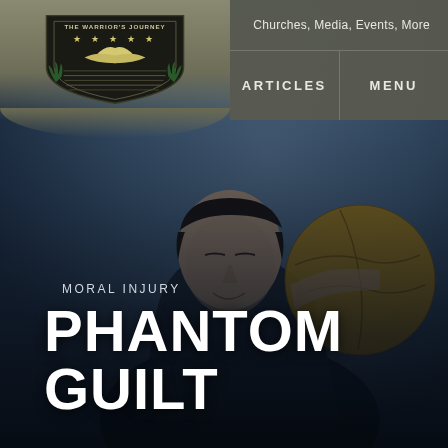[Figure (logo): The Warrior's Journey shield logo with eagle and stars on a military-style shield]
Churches, Media, Events, More
ARTICLES    MENU
[Figure (photo): A man holding a yellow/gold ball against a blue-gray background, with dramatic dark overlay. The background fades to dark at bottom.]
MORAL INJURY
PHANTOM GUILT